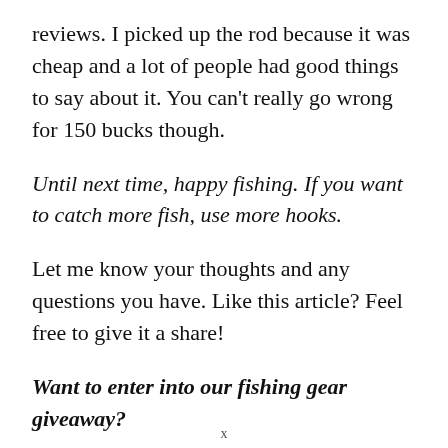reviews. I picked up the rod because it was cheap and a lot of people had good things to say about it. You can’t really go wrong for 150 bucks though.
Until next time, happy fishing. If you want to catch more fish, use more hooks.
Let me know your thoughts and any questions you have. Like this article? Feel free to give it a share!
Want to enter into our fishing gear giveaway?